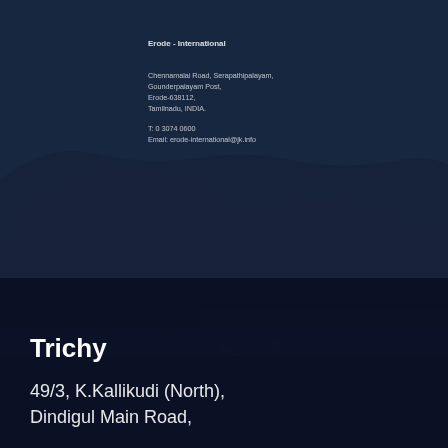[Figure (photo): Dark navy blue background with a hillside covered in dense green trees, overlaid with a dark navy blue tint. Lower portion shows a building structure. A diagonal striped band crosses horizontally across the image.]
Erode - International
Chennamalai Road, Serapathipalayam,
Gounderpalayam Post,
Erode-638112,
Tamilnadu, INDIA.

T: 0 3074 0600
Email: erode-international@jk.info
Trichy
49/3, K.Kallikudi (North),
Dindigul Main Road,